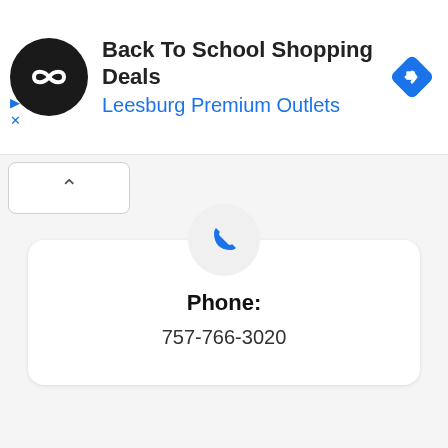[Figure (infographic): Ad banner with a circular black logo with white infinity/arrow icon, bold text 'Back To School Shopping Deals', blue text 'Leesburg Premium Outlets', and a blue diamond-shaped navigation icon on the right. Small blue play and X icons at left below logo.]
Phone:
757-766-3020